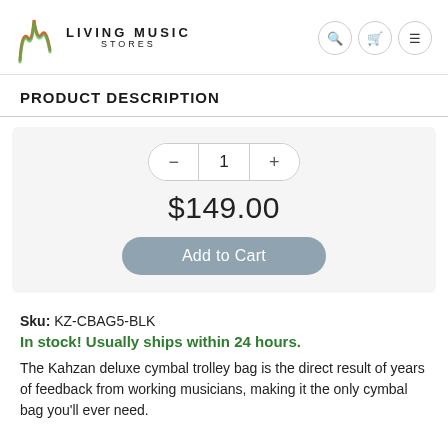Living Music Stores
PRODUCT DESCRIPTION
Quantity: 1, Price: $149.00, Add to Cart
Sku: KZ-CBAG5-BLK
In stock! Usually ships within 24 hours.
The Kahzan deluxe cymbal trolley bag is the direct result of years of feedback from working musicians, making it the only cymbal bag you'll ever need.